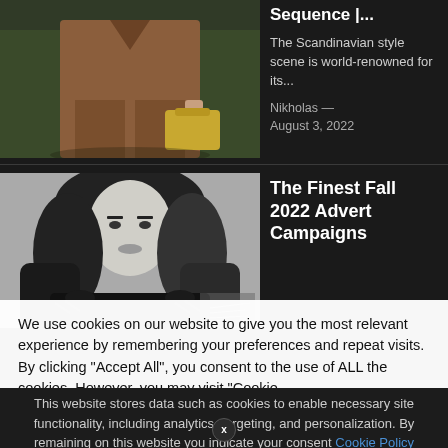[Figure (photo): Person wearing brown suit, holding a yellow bag, outdoors with green foliage background]
Sequence |...
The Scandinavian style scene is world-renowned for its...
Nikholas — August 3, 2022
[Figure (photo): Black and white photo of a woman with dark hair wearing a dark feathered jacket]
The Finest Fall 2022 Advert Campaigns
We use cookies on our website to give you the most relevant experience by remembering your preferences and repeat visits. By clicking "Accept All", you consent to the use of ALL the cookies. However, you may visit "Cookie
This website stores data such as cookies to enable necessary site functionality, including analytics, targeting, and personalization. By remaining on this website you indicate your consent Cookie Policy